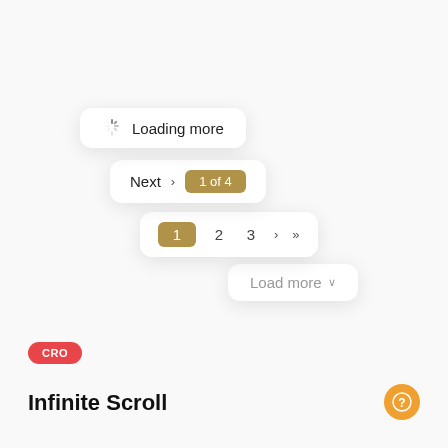[Figure (screenshot): UI illustration showing three overlapping cards staggered diagonally: 1) 'Loading more' card with spinner icon, 2) 'Next › 1 of 4' pagination card with golden badge, 3) Pagination bar card showing pages 1 (active/gold), 2, 3, › »; and 4) 'Load more v' card — representing infinite scroll UI patterns]
CRO
Infinite Scroll